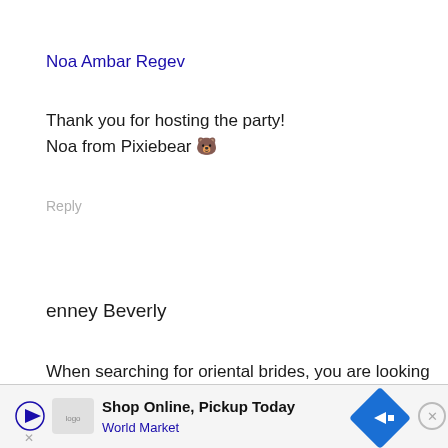Noa Ambar Regev
Thank you for hosting the party!
Noa from Pixiebear 🐻
Reply
enney Beverly
When searching for oriental brides, you are looking for a charming, intelligent, and stunning girl. She can be your perfect companion in any situation. She is the
[Figure (other): Advertisement banner: Shop Online, Pickup Today - World Market, with play button, logo, navigation arrow icon, and close button]